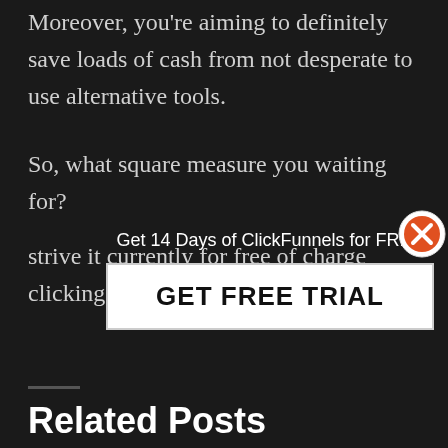Moreover, you're aiming to definitely save loads of cash from not desperate to use alternative tools.
So, what square measure you waiting for?
strive it currently for free of charge clicking here.
[Figure (infographic): Dark popup banner: 'Get 14 Days of ClickFunnels for FREE' with a 'GET FREE TRIAL' button and a close X button in orange/white circle in top right]
Related Posts
ClickFunnels Best Tutorial 2019